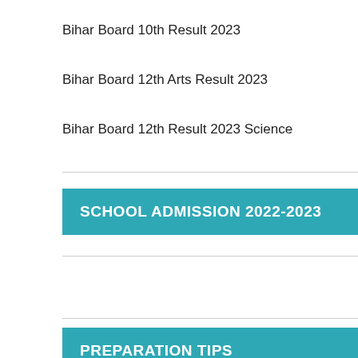Bihar Board 10th Result 2023
Bihar Board 12th Arts Result 2023
Bihar Board 12th Result 2023 Science
SCHOOL ADMISSION 2022-2023
PREPARATION TIPS